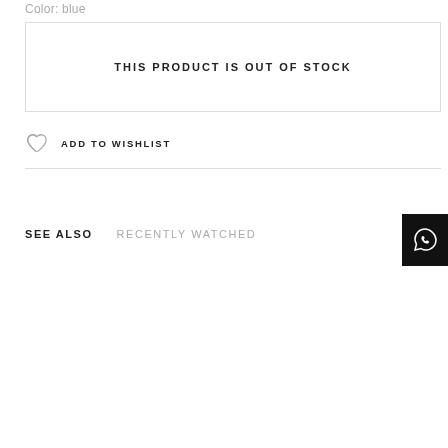Color: blue
THIS PRODUCT IS OUT OF STOCK
ADD TO WISHLIST
SEE ALSO
RECENTLY WATCHED